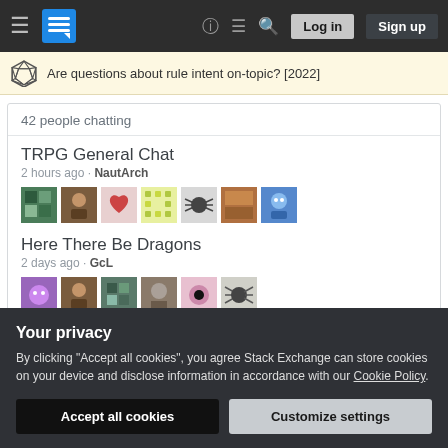Stack Exchange navigation bar with Log in and Sign up buttons
Are questions about rule intent on-topic? [2022]
42 people chatting
TRPG General Chat
2 hours ago - NautArch
Here There Be Dragons
2 days ago - GcL
Your privacy
By clicking "Accept all cookies", you agree Stack Exchange can store cookies on your device and disclose information in accordance with our Cookie Policy.
Accept all cookies
Customize settings
detecting them on topic?